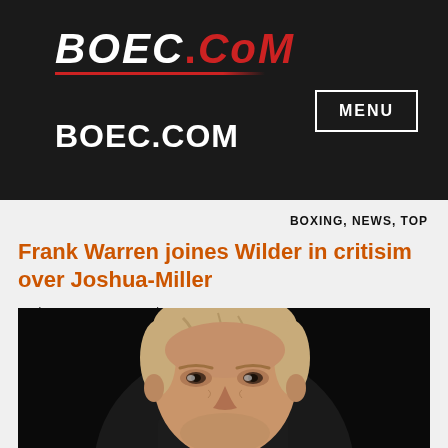[Figure (logo): BOEC.COM logo with white italic BOEC and red .CoM text, red underline]
BOEC.COM
MENU
BOXING, NEWS, TOP
Frank Warren joines Wilder in critisim over Joshua-Miller
February 14, 2019    | 2:14 pm
[Figure (photo): Close-up photo of a middle-aged man with blonde/grey hair against a dark background, presumably Frank Warren]